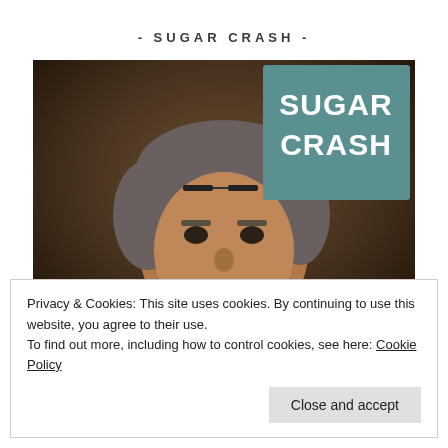- SUGAR CRASH -
[Figure (photo): A middle-aged man with curly grey hair and glasses on his head, wearing a dark suit and white shirt, photographed in a dim setting. In the upper right of the image is a teal/green rectangle with bold white text reading 'SUGAR CRASH'. At the bottom of the image partial text reads 'Prof. WILLIAM T. O'CONNOR'.]
Privacy & Cookies: This site uses cookies. By continuing to use this website, you agree to their use.
To find out more, including how to control cookies, see here: Cookie Policy
Close and accept